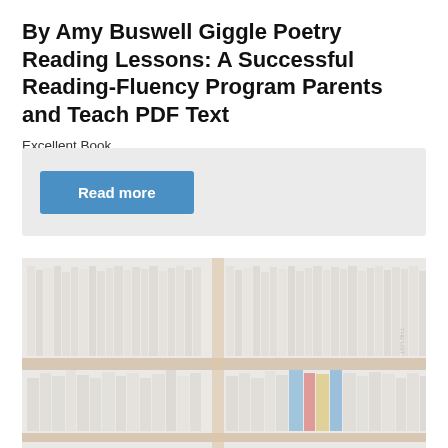By Amy Buswell Giggle Poetry Reading Lessons: A Successful Reading-Fluency Program Parents and Teach PDF Text
Excellent Book
Read more
[Figure (photo): A photograph of a library bookshelf filled with books of various sizes and colors, shown in a faded/washed-out tone with a wooden shelf visible.]